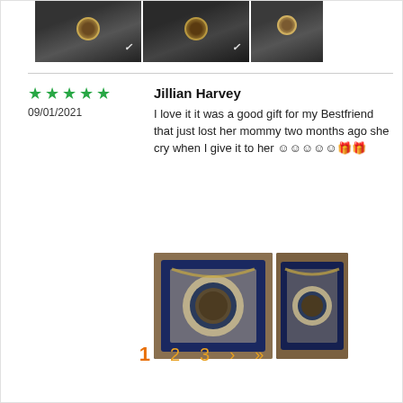[Figure (photo): Three photos of a person wearing a personalized photo pendant necklace on a dark Nike shirt]
[Figure (photo): Review by Jillian Harvey showing a photo pendant necklace in a blue jewelry gift box]
Jillian Harvey
09/01/2021
I love it it was a good gift for my Bestfriend that just lost her mommy two months ago she cry when I give it to her 😊😊😊😊😊🎁🎁
1  2  3  >  >|